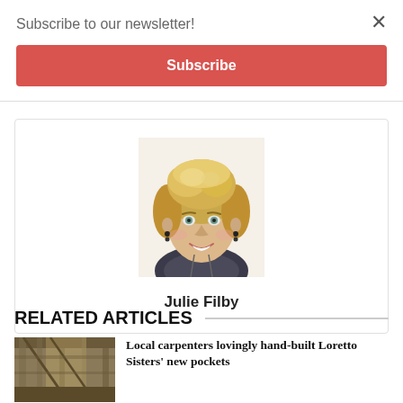Subscribe to our newsletter!
Subscribe
×
[Figure (photo): Headshot of Julie Filby, a blonde woman with short hair, smiling, wearing earrings]
Julie Filby
RELATED ARTICLES
[Figure (photo): Thumbnail image of wooden building interior (Loretto Sisters article)]
Local carpenters lovingly hand-built Loretto Sisters' new pockets